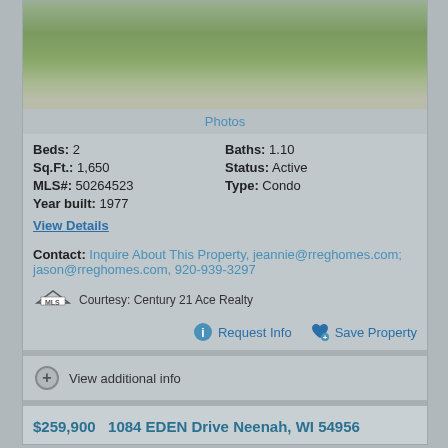[Figure (photo): Aerial/front view of a house with green lawn and driveway]
Photos
Beds: 2    Baths: 1.10
Sq.Ft.: 1,650    Status: Active
MLS#: 50264523    Type: Condo
Year built: 1977
View Details
Contact: Inquire About This Property, jeannie@rreghomes.com; jason@rreghomes.com, 920-939-3297
Courtesy: Century 21 Ace Realty
Request Info    Save Property
View additional info
$259,900  1084 EDEN Drive Neenah, WI 54956